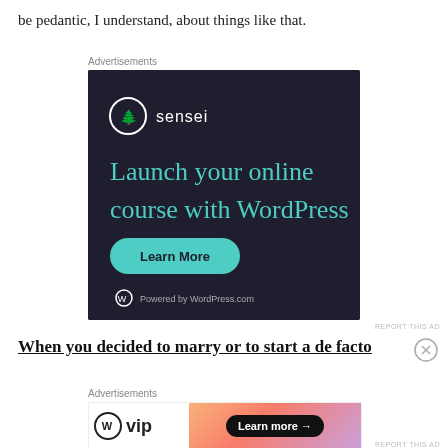be pedantic, I understand, about things like that.
Advertisements
[Figure (other): Sensei advertisement banner: dark background with sensei logo, text 'Launch your online course with WordPress', green 'Learn More' button, 'Powered by WordPress.com' footer]
REPORT THIS AD
When you decided to marry or to start a de facto
Advertisements
[Figure (other): WordPress VIP advertisement with gradient background and 'Learn more' button]
REPORT THIS AD